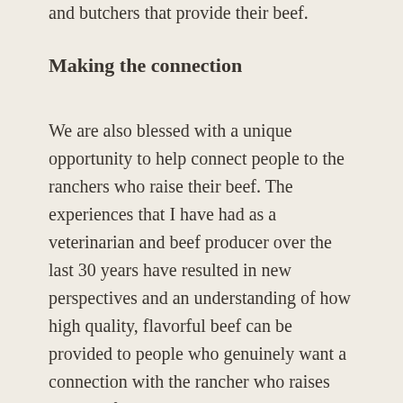and butchers that provide their beef.
Making the connection
We are also blessed with a unique opportunity to help connect people to the ranchers who raise their beef. The experiences that I have had as a veterinarian and beef producer over the last 30 years have resulted in new perspectives and an understanding of how high quality, flavorful beef can be provided to people who genuinely want a connection with the rancher who raises their beef and the butcher who processes their food. Mike is a husband, father, veterinarian and beef producer. Shannon is a wife, mother and teacher. We have had the opportunity to...